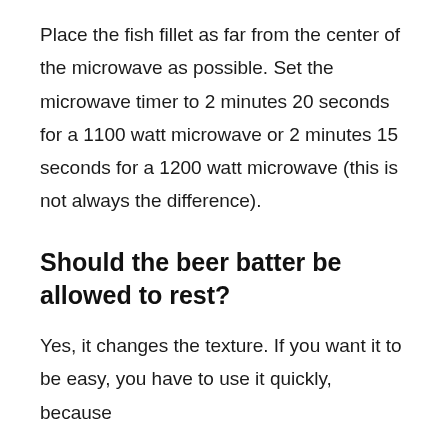Place the fish fillet as far from the center of the microwave as possible. Set the microwave timer to 2 minutes 20 seconds for a 1100 watt microwave or 2 minutes 15 seconds for a 1200 watt microwave (this is not always the difference).
Should the beer batter be allowed to rest?
Yes, it changes the texture. If you want it to be easy, you have to use it quickly, because